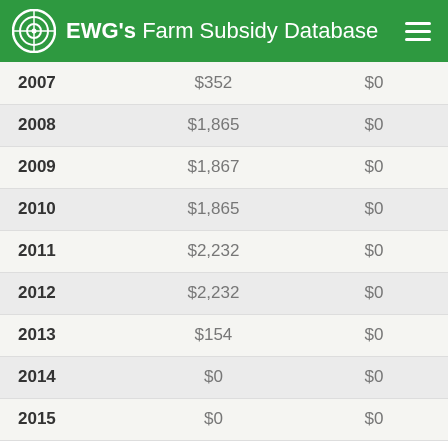EWG's Farm Subsidy Database
| Year | Amount1 | Amount2 |
| --- | --- | --- |
| 2007 | $352 | $0 |
| 2008 | $1,865 | $0 |
| 2009 | $1,867 | $0 |
| 2010 | $1,865 | $0 |
| 2011 | $2,232 | $0 |
| 2012 | $2,232 | $0 |
| 2013 | $154 | $0 |
| 2014 | $0 | $0 |
| 2015 | $0 | $0 |